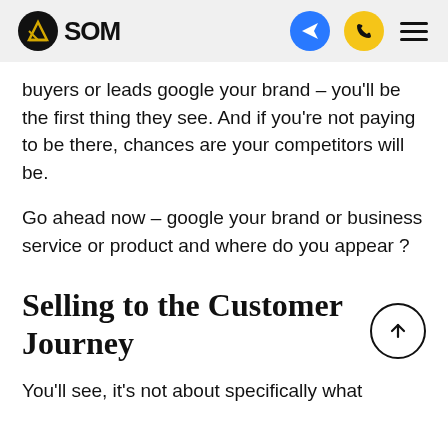SDM
buyers or leads google your brand – you'll be the first thing they see. And if you're not paying to be there, chances are your competitors will be.
Go ahead now – google your brand or business service or product and where do you appear ?
Selling to the Customer Journey
You'll see, it's not about specifically what